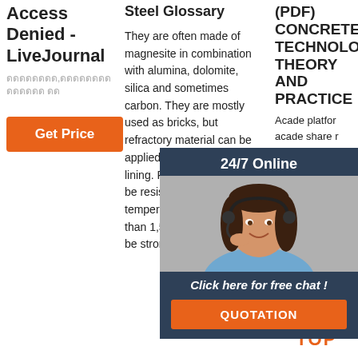Access Denied - LiveJournal
ดดดดดดดด,ดดดดดดดดดดดดดด
Get Price
Steel Glossary
They are often made of magnesite in combination with alumina, dolomite, silica and sometimes carbon. They are mostly used as bricks, but refractory material can be applied directly to form a lining. Refractories need to be resistant to high temperatures (up to more than 1,500 degrees C) and be strong at those
(PDF) CONCRETE TECHNOLOGY THEORY AND PRACTICE
Acade platform acaden share r papers
Get
[Figure (infographic): 24/7 Online chat widget with a woman wearing a headset, overlaid on dark background with 'Click here for free chat!' text and an orange QUOTATION button]
[Figure (infographic): Orange TOP button with upward-pointing triangle dots icon and 'TOP' text]